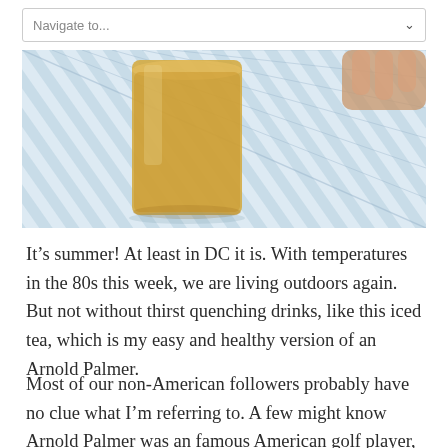Navigate to...
[Figure (photo): Close-up photo of an orange iced tea drink in a glass on a blue striped cloth/tablecloth background with a partially visible hand in the upper right.]
It’s summer! At least in DC it is. With temperatures in the 80s this week, we are living outdoors again. But not without thirst quenching drinks, like this iced tea, which is my easy and healthy version of an Arnold Palmer.
Most of our non-American followers probably have no clue what I’m referring to. A few might know Arnold Palmer was an famous American golf player, but a drink? In fact, I never heard of it either before I came to live in the States. One beautiful day, when we were having lunch on our